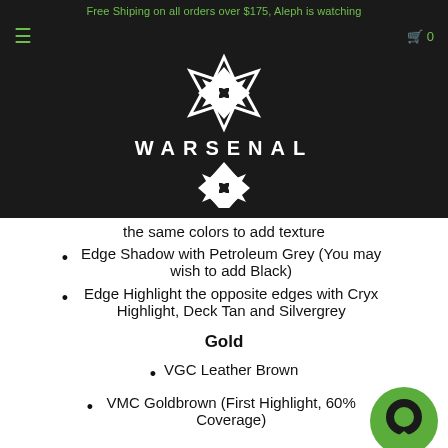Free Shiping on all orders over $175, Aleph is watching
[Figure (logo): Warsenal logo — geometric snowflake-style symbol above and below the text WARSENAL on a black background]
the same colors to add texture
Edge Shadow with Petroleum Grey (You may wish to add Black)
Edge Highlight the opposite edges with Cryx Highlight, Deck Tan and Silvergrey
Gold
VGC Leather Brown
VMC Goldbrown (First Highlight, 60% Coverage)